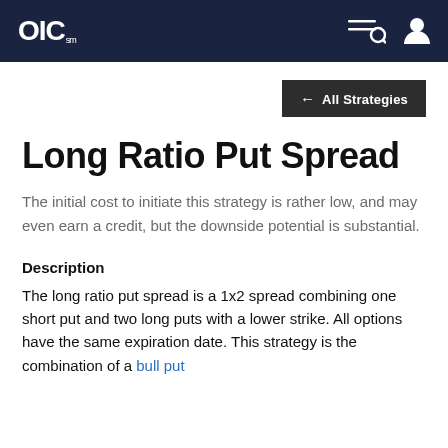OIC
← All Strategies
Long Ratio Put Spread
The initial cost to initiate this strategy is rather low, and may even earn a credit, but the downside potential is substantial.
Description
The long ratio put spread is a 1x2 spread combining one short put and two long puts with a lower strike. All options have the same expiration date. This strategy is the combination of a bull put